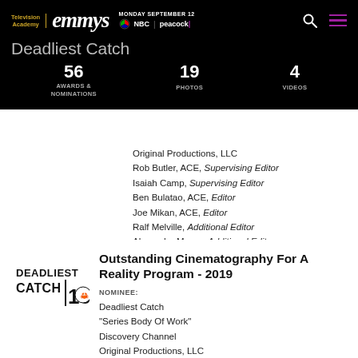Television Academy | emmys | MONDAY SEPTEMBER 12 | NBC | peacock
Deadliest Catch
56 AWARDS & NOMINATIONS   19 PHOTOS   4 VIDEOS
Original Productions, LLC
Rob Butler, ACE, Supervising Editor
Isaiah Camp, Supervising Editor
Ben Bulatao, ACE, Editor
Joe Mikan, ACE, Editor
Ralf Melville, Additional Editor
Alexandra Moore, Additional Editor
[Figure (logo): Deadliest Catch Season 10 logo in black and white]
Outstanding Cinematography For A Reality Program - 2019
NOMINEE:
Deadliest Catch
"Series Body Of Work"
Discovery Channel
Original Productions, LLC
David Reichert, Director of Photography
Kelven Agee, Director of Photography